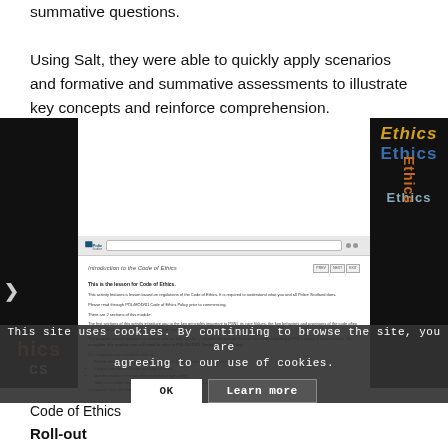summative questions.
Using Salt, they were able to quickly apply scenarios and formative and summative assessments to illustrate key concepts and reinforce comprehension.
[Figure (screenshot): Screenshot of a Police Scotland Salt e-learning platform showing 'Introduction to the Code of Ethics' course page with navigation buttons, descriptive text, bullet points listing learning objectives, and a completion time indicator. The screenshot is flanked by dark panels showing the word 'Ethics' in yellow and blue text.]
This site uses cookies. By continuing to browse the site, you are agreeing to our use of cookies.
Code of Ethics
Roll-out